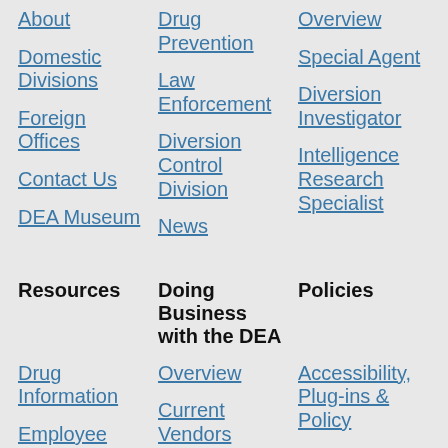About
Drug Prevention
Overview
Domestic Divisions
Law Enforcement
Special Agent
Foreign Offices
Diversion Control Division
Diversion Investigator
Contact Us
News
Intelligence Research Specialist
DEA Museum
Resources
Doing Business with the DEA
Policies
Drug Information
Overview
Accessibility, Plug-ins & Policy
Employee Assistance Program
Current Vendors
Legal Policies & Disclaimers
Equal Opportunity
Prospective Vendors
No FEAR Act
Privacy Policy